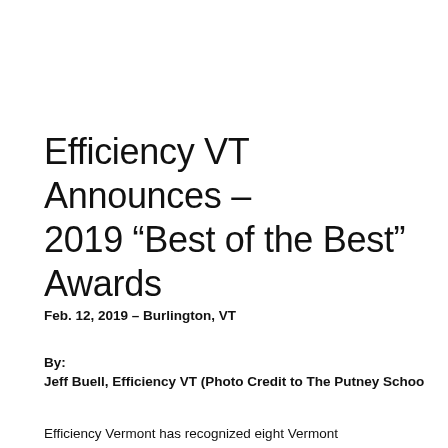Efficiency VT Announces – 2019 “Best of the Best” Awards
Feb. 12, 2019 – Burlington, VT
By:
Jeff Buell, Efficiency VT (Photo Credit to The Putney Schoo
Efficiency Vermont has recognized eight Vermont